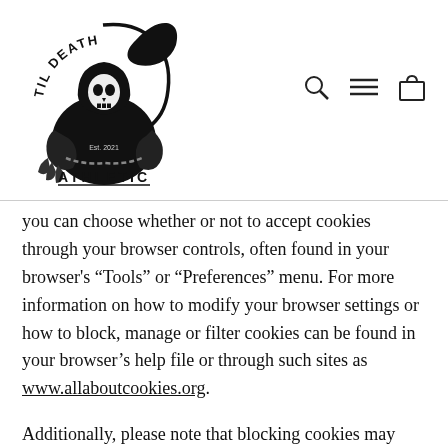[Figure (logo): Til Death Athletic logo featuring a grim reaper with scythe, black and white illustration, with text 'TIL DEATH' arched at top, 'Est. 2021' in center, and 'ATHLETIC' at the bottom]
you can choose whether or not to accept cookies through your browser controls, often found in your browser's “Tools” or “Preferences” menu. For more information on how to modify your browser settings or how to block, manage or filter cookies can be found in your browser’s help file or through such sites as www.allaboutcookies.org.
Additionally, please note that blocking cookies may